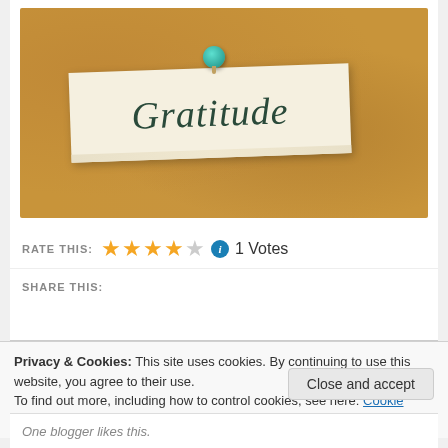[Figure (photo): A cork board with a white handwritten note card pinned by a teal pushpin. The note reads 'Gratitude' in cursive handwriting.]
RATE THIS: ★★★★☆ ⓘ 1 Votes
SHARE THIS:
Privacy & Cookies: This site uses cookies. By continuing to use this website, you agree to their use.
To find out more, including how to control cookies, see here: Cookie Policy
Close and accept
One blogger likes this.